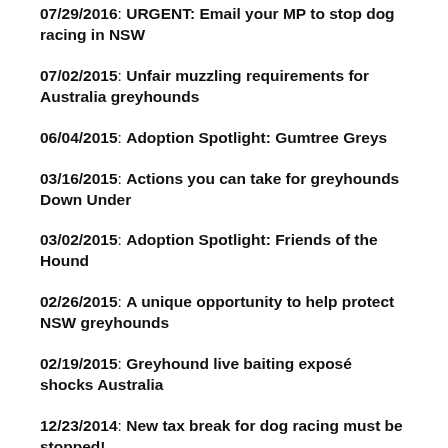07/29/2016: URGENT: Email your MP to stop dog racing in NSW
07/02/2015: Unfair muzzling requirements for Australia greyhounds
06/04/2015: Adoption Spotlight: Gumtree Greys
03/16/2015: Actions you can take for greyhounds Down Under
03/02/2015: Adoption Spotlight: Friends of the Hound
02/26/2015: A unique opportunity to help protect NSW greyhounds
02/19/2015: Greyhound live baiting exposé shocks Australia
12/23/2014: New tax break for dog racing must be stopped!
04/23/2014: More pressure needed on Australian Government